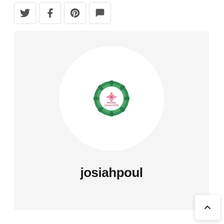[Figure (screenshot): Social media share icons: Twitter, Facebook, Pinterest, and a messaging/share icon, each in a rounded square border]
[Figure (illustration): User profile card on light gray background. Contains a large white circle (avatar placeholder) with a small circular logo in the center showing green leafy decorative border with pink flower and text 'ORIGINAL COLLECTIONS'. Below the circle is the username 'josiahpoul' in bold dark text.]
[Figure (other): Back to top button (chevron up arrow) in a white rounded square, bottom right corner]